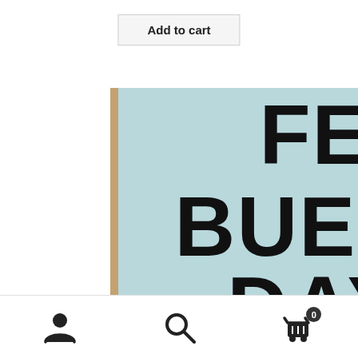Add to cart
[Figure (photo): Movie cover/poster of Ferris Bueller's Day Off showing large bold text 'FERRIS BUELLER'S DAY OFF' and a young man's face with hands behind his head, light blue background]
[Figure (infographic): Bottom navigation bar with person icon, search icon, and shopping cart icon with badge showing 0]